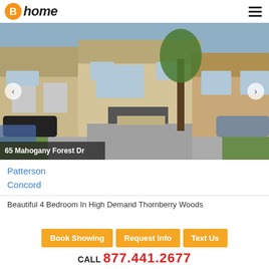home (Bitcoin Home logo)
[Figure (photo): Exterior photo of a two-storey brick house at 65 Mahogany Forest Dr with a paved driveway and garage, adjacent houses visible on both sides, with navigation arrows and address badge overlay.]
Patterson
Concord
Beautiful 4 Bedroom In High Demand Thornberry Woods
Book Showing   Request Info   Text Us
CALL 877.441.2677